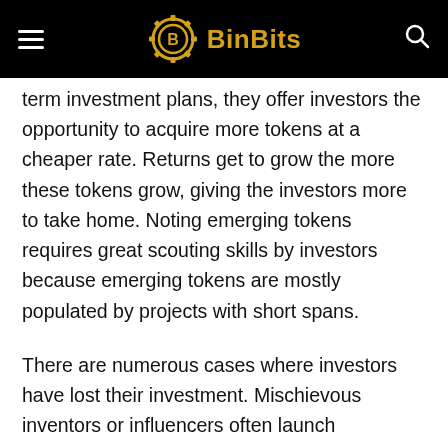BinBits
term investment plans, they offer investors the opportunity to acquire more tokens at a cheaper rate. Returns get to grow the more these tokens grow, giving the investors more to take home. Noting emerging tokens requires great scouting skills by investors because emerging tokens are mostly populated by projects with short spans.
There are numerous cases where investors have lost their investment. Mischievous inventors or influencers often launch